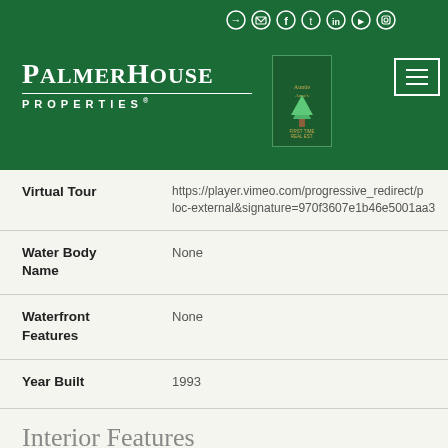[Figure (logo): Palmer House Properties logo with green header background, social media icons, and hamburger menu button]
| Field | Value |
| --- | --- |
| Virtual Tour | https://player.vimeo.com/progressive_redirect/p loc-external&signature-970f3607e1b46e5001aa3 |
| Water Body Name | None |
| Waterfront Features | None |
| Year Built | 1993 |
Interior Features
| Field | Value |
| --- | --- |
| Common Walls | No Common Walls |